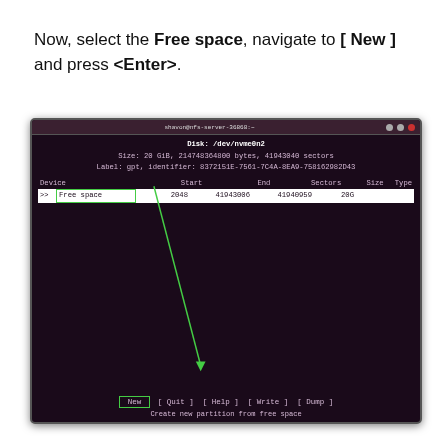Now, select the Free space, navigate to [ New ] and press <Enter>.
[Figure (screenshot): Terminal window showing fdisk partition editor with 'Free space' selected. The disk is /dev/nvme0n2, 20 GiB, 214748364800 bytes, 41943040 sectors, GPT label. Columns: Device, Start, End, Sectors, Size, Type. Row shows '>>' arrow and 'Free space' highlighted with green border, Start 2048, End 41943006, Sectors 41940959, Size 20G. An arrow points from 'Free space' down to a [ New ] button at the bottom. Other buttons: [ Quit ] [ Help ] [ Write ] [ Dump ]. Status bar: Create new partition from free space.]